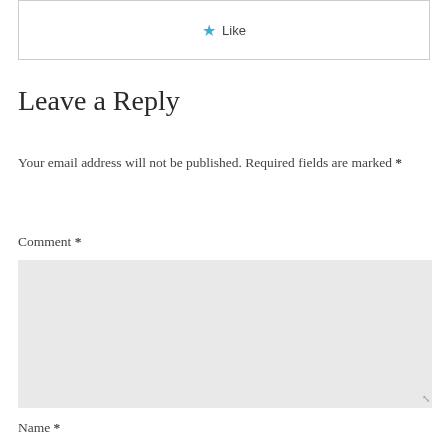[Figure (other): Box with a blue star Like button]
Leave a Reply
Your email address will not be published. Required fields are marked *
Comment *
[Figure (other): Large light grey comment textarea input box with resize handle]
Name *